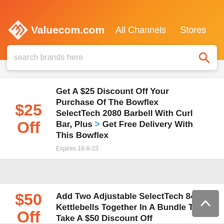Valuecom.com  All Channels  Stores
search brands here
$25 Off — Get A $25 Discount Off Your Purchase Of The Bowflex SelectTech 2080 Barbell With Curl Bar, Plus Get Free Delivery With This Bowflex — Expires 18-8-23
$50 Off — Add Two Adjustable SelectTech 840 Kettlebells Together In A Bundle To Take A $50 Discount Off